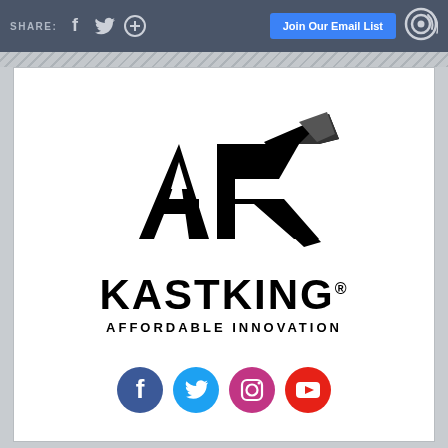SHARE: [Facebook] [Twitter] [+] | Join Our Email List | [Target icon]
[Figure (logo): KastKing logo — stylized 'AK' fish shape in black above bold KASTKING® wordmark with AFFORDABLE INNOVATION tagline]
[Figure (infographic): Four social media circle icons: Facebook (blue), Twitter (light blue), Instagram (pink/magenta), YouTube (red)]